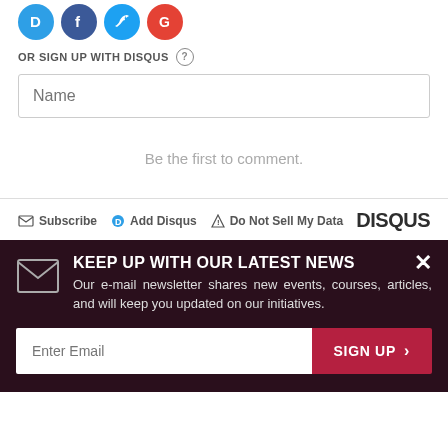[Figure (logo): Four social login icons: Disqus (blue D), Facebook (dark blue f), Twitter (light blue bird), Google (red G)]
OR SIGN UP WITH DISQUS ?
Name
Be the first to comment.
Subscribe  Add Disqus  Do Not Sell My Data   DISQUS
KEEP UP WITH OUR LATEST NEWS
Our e-mail newsletter shares new events, courses, articles, and will keep you updated on our initiatives.
Enter Email  SIGN UP >